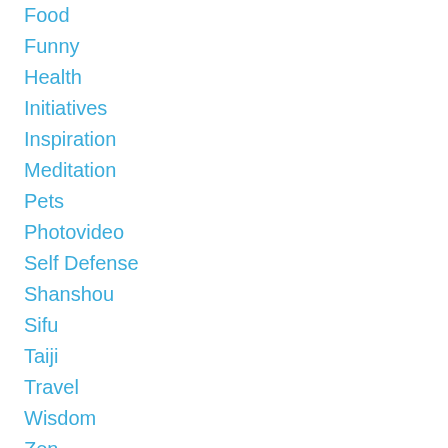Food
Funny
Health
Initiatives
Inspiration
Meditation
Pets
Photovideo
Self Defense
Shanshou
Sifu
Taiji
Travel
Wisdom
Zen
Archives
August 2021